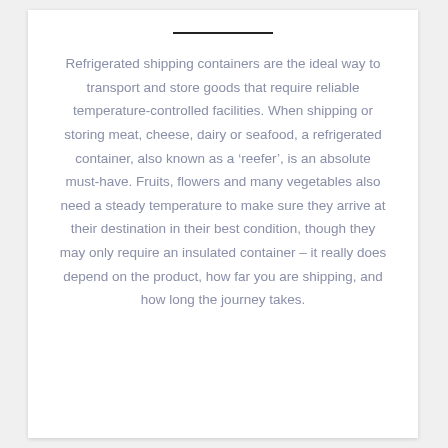Refrigerated shipping containers are the ideal way to transport and store goods that require reliable temperature-controlled facilities. When shipping or storing meat, cheese, dairy or seafood, a refrigerated container, also known as a ‘reefer’, is an absolute must-have. Fruits, flowers and many vegetables also need a steady temperature to make sure they arrive at their destination in their best condition, though they may only require an insulated container – it really does depend on the product, how far you are shipping, and how long the journey takes.